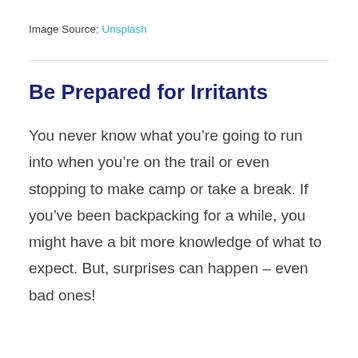Image Source: Unsplash
Be Prepared for Irritants
You never know what you’re going to run into when you’re on the trail or even stopping to make camp or take a break. If you’ve been backpacking for a while, you might have a bit more knowledge of what to expect. But, surprises can happen – even bad ones!